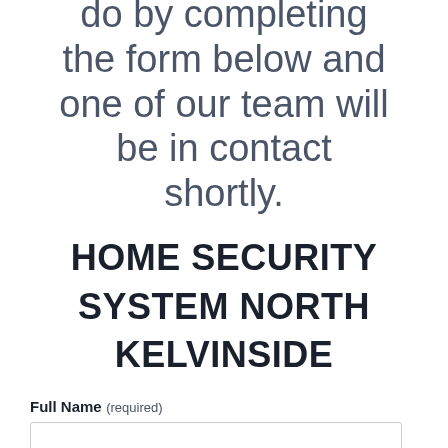do by completing the form below and one of our team will be in contact shortly.
HOME SECURITY SYSTEM NORTH KELVINSIDE
Full Name (required)